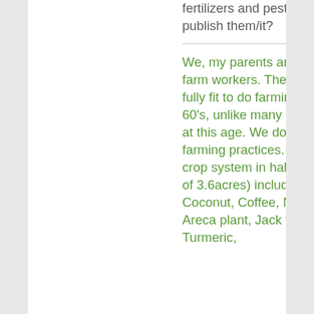fertilizers and pesticides... did you publish them/it?
We, my parents and my aunt are the farm workers. They are healthy and fully fit to do farming and all at their 60's, unlike many people in Kerala at this age. We don't do much farming practices. We have a mixed crop system in half of our land (out of 3.6acres) including Rubber, Coconut, Coffee, Nutmeg, Cocoa, Areca plant, Jack fruit tree, Ginger, Turmeric,